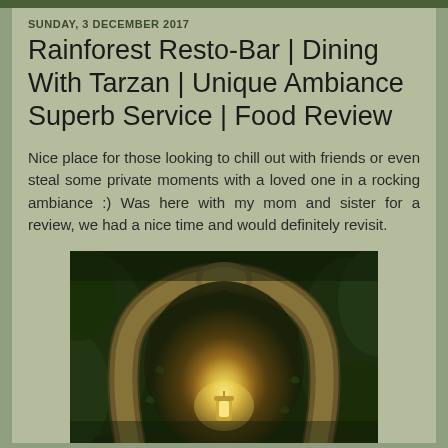SUNDAY, 3 DECEMBER 2017
Rainforest Resto-Bar | Dining With Tarzan | Unique Ambiance Superb Service | Food Review
Nice place for those looking to chill out with friends or even steal some private moments with a loved one in a rocking ambiance :) Was here with my mom and sister for a review, we had a nice time and would definitely revisit.
[Figure (photo): Interior photo of Rainforest Resto-Bar showing a glowing rocky arch entrance illuminated by warm lantern light, surrounded by lush greenery in a jungle-themed ambiance.]